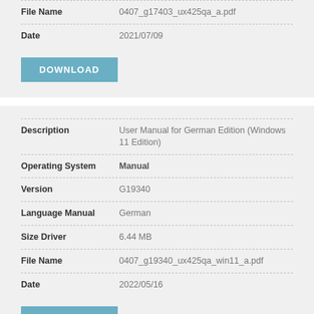| Field | Value |
| --- | --- |
| File Name | 0407_g17403_ux425qa_a.pdf |
| Date | 2021/07/09 |
DOWNLOAD
| Field | Value |
| --- | --- |
| Description | User Manual for German Edition (Windows 11 Edition) |
| Operating System | Manual |
| Version | G19340 |
| Language Manual | German |
| Size Driver | 6.44 MB |
| File Name | 0407_g19340_ux425qa_win11_a.pdf |
| Date | 2022/05/16 |
DOWNLOAD